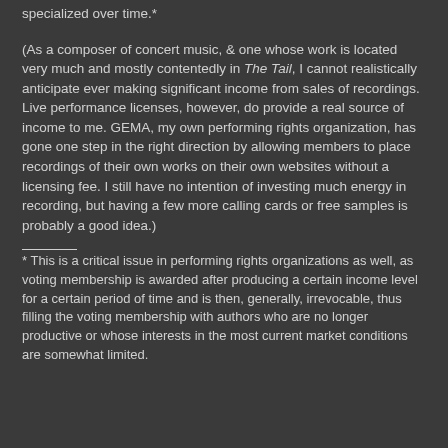specialized over time.*
(As a composer of concert music, & one whose work is located very much and mostly contentedly in The Tail, I cannot realistically anticipate ever making significant income from sales of recordings.  Live performance licenses, however, do provide a real source of income to me. GEMA, my own performing rights organization, has gone one step in the right direction by allowing members to place recordings of their own works on their own websites without a licensing fee. I still have no intention of investing much energy in recording, but having a few more calling cards or free samples is probably a good idea.)
* This is a critical issue in performing rights organizations as well, as voting membership is awarded after producing a certain income level for a certain period of time and is then, generally, irrevocable, thus filling the voting membership with authors who are no longer productive or whose interests in the most current market conditions are somewhat limited.